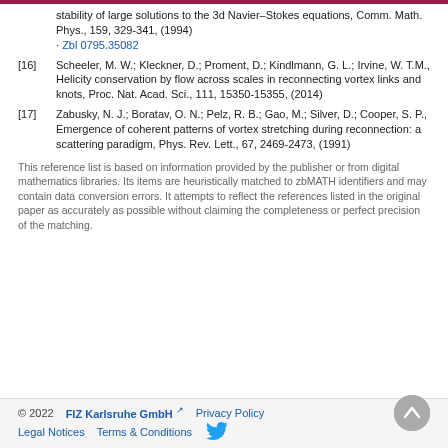[16] Scheeler, M. W.; Kleckner, D.; Proment, D.; Kindlmann, G. L.; Irvine, W. T.M., Helicity conservation by flow across scales in reconnecting vortex links and knots, Proc. Nat. Acad. Sci., 111, 15350-15355, (2014)
[17] Zabusky, N. J.; Boratav, O. N.; Pelz, R. B.; Gao, M.; Silver, D.; Cooper, S. P., Emergence of coherent patterns of vortex stretching during reconnection: a scattering paradigm, Phys. Rev. Lett., 67, 2469-2473, (1991)
This reference list is based on information provided by the publisher or from digital mathematics libraries. Its items are heuristically matched to zbMATH identifiers and may contain data conversion errors. It attempts to reflect the references listed in the original paper as accurately as possible without claiming the completeness or perfect precision of the matching.
© 2022   FIZ Karlsruhe GmbH   Privacy Policy   Legal Notices   Terms & Conditions